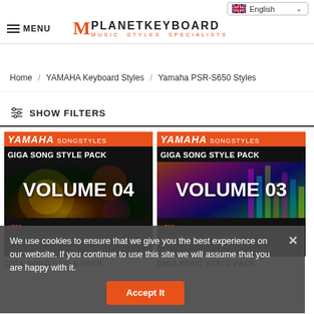English | MENU | M PLANETKEYBOARD MUSIC STYLES SPECIALISTS
Home / YAMAHA Keyboard Styles / Yamaha PSR-S650 Styles
SHOW FILTERS
[Figure (screenshot): Yamaha Songstyles Giga Song Style Pack Volume 04 product image with orange header and disco-themed background]
[Figure (screenshot): Yamaha Songstyles Giga Song Style Pack Volume 03 product image with orange header and colorful equalizer background]
We use cookies to ensure that we give you the best experience on our website. If you continue to use this site we will assume that you are happy with it.
Accept It
GIGA SONG STYLE PACK
GIGA SONG STYLE PACK